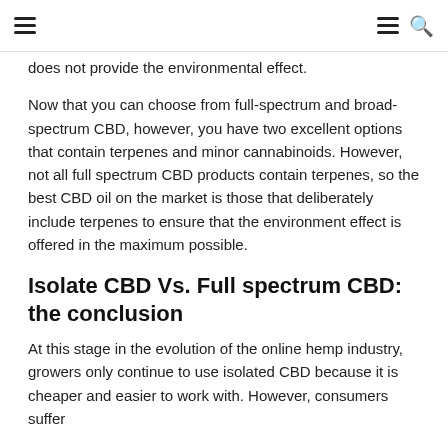≡  ≡ 🔍
does not provide the environmental effect.
Now that you can choose from full-spectrum and broad-spectrum CBD, however, you have two excellent options that contain terpenes and minor cannabinoids. However, not all full spectrum CBD products contain terpenes, so the best CBD oil on the market is those that deliberately include terpenes to ensure that the environment effect is offered in the maximum possible.
Isolate CBD Vs. Full spectrum CBD: the conclusion
At this stage in the evolution of the online hemp industry, growers only continue to use isolated CBD because it is cheaper and easier to work with. However, consumers suffer